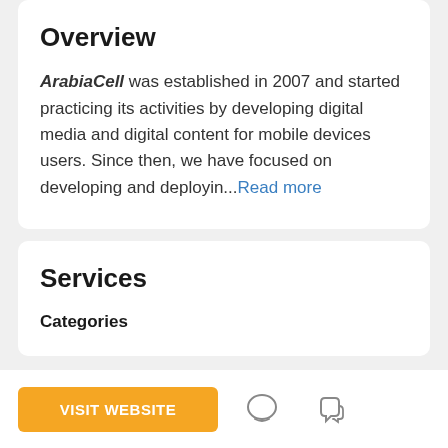Overview
ArabiaCell was established in 2007 and started practicing its activities by developing digital media and digital content for mobile devices users. Since then, we have focused on developing and deployin...Read more
Services
Categories
VISIT WEBSITE